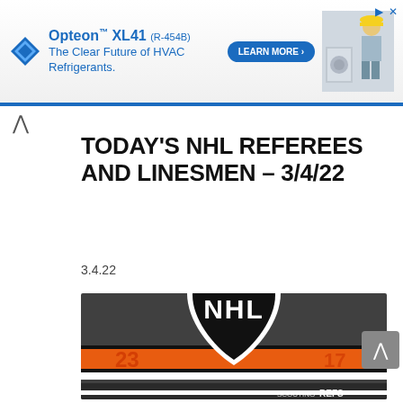[Figure (advertisement): Opteon XL41 (R-454B) advertisement banner - 'The Clear Future of HVAC Refrigerants.' with Learn More button and HVAC technician image]
TODAY'S NHL REFEREES AND LINESMEN – 3/4/22
3.4.22
[Figure (photo): NHL logo shield on orange and black jersey background with referee stripes at bottom. Logo shows NHL text in white on black shield. Bottom right shows 'SCOUTING REFS' watermark.]